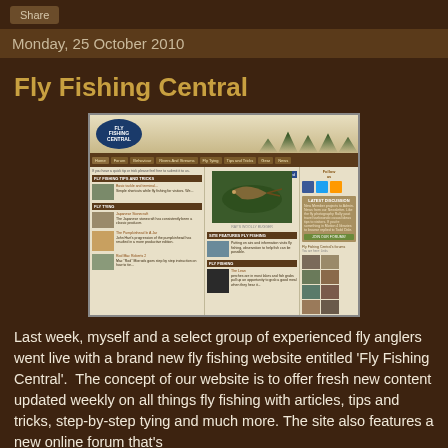Share
Monday, 25 October 2010
Fly Fishing Central
[Figure (screenshot): Screenshot of the Fly Fishing Central website showing logo, navigation bar, featured fly fishing image, content sections including tips, fly tying articles, social media follow buttons, and forum join section]
Last week, myself and a select group of experienced fly anglers went live with a brand new fly fishing website entitled 'Fly Fishing Central'.  The concept of our website is to offer fresh new content updated weekly on all things fly fishing with articles, tips and tricks, step-by-step tying and much more. The site also features a new online forum that's